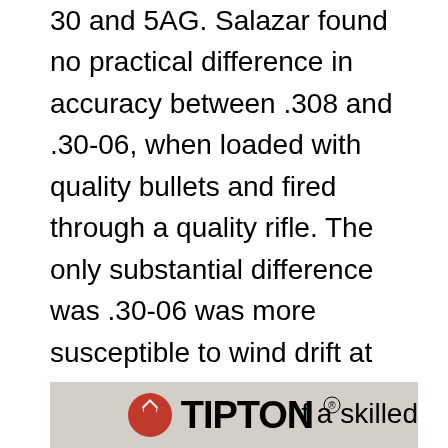30 and 5AG. Salazar found no practical difference in accuracy between .308 and .30-06, when loaded with quality bullets and fired through a quality rifle. The only substantial difference was .30-06 was more susceptible to wind drift at long range, though it's worth nothing that he loaded a heavier grain weight projectile (Sierra Match King) for .30-06. As many know, the highest ballistic coefficients for .30-06 cartridges are those of the 180-grain to 200-grain bullets.
The point here is that a quality rifle, loaded with [TIPTON AD] f a skilled
[Figure (logo): Tipton logo with red pentagon icon and bold black TIPTON text on a light gray/beige background banner]